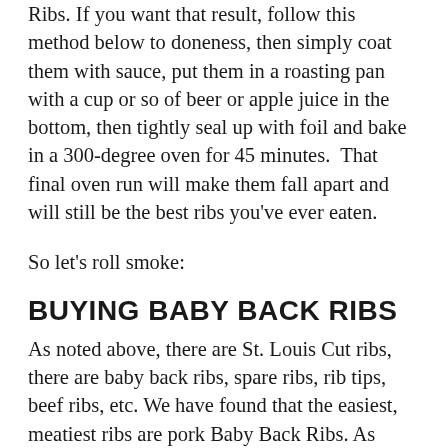Ribs. If you want that result, follow this method below to doneness, then simply coat them with sauce, put them in a roasting pan with a cup or so of beer or apple juice in the bottom, then tightly seal up with foil and bake in a 300-degree oven for 45 minutes. That final oven run will make them fall apart and will still be the best ribs you've ever eaten.
So let's roll smoke:
BUYING BABY BACK RIBS
As noted above, there are St. Louis Cut ribs, there are baby back ribs, spare ribs, rib tips, beef ribs, etc. We have found that the easiest, meatiest ribs are pork Baby Back Ribs. As implied, they come from the back